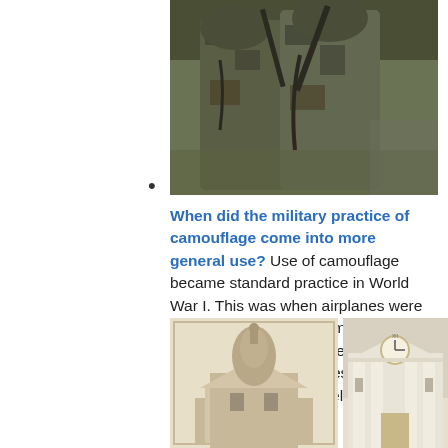[Figure (photo): Two soldiers in camouflage military uniforms and gear, one carrying a weapon]
•
When did the military practice of camouflage come into more general use? Use of camouflage became standard practice in World War I. This was when airplanes were used to reconnoiter enemy encampments and to direct artillery fire. Armies found it necessary to camouflage uniforms, helmets,...
[Figure (photo): Historical photograph of a government building with a dome]
[Figure (photo): Painting or illustration of a white government building with columns and a clock]